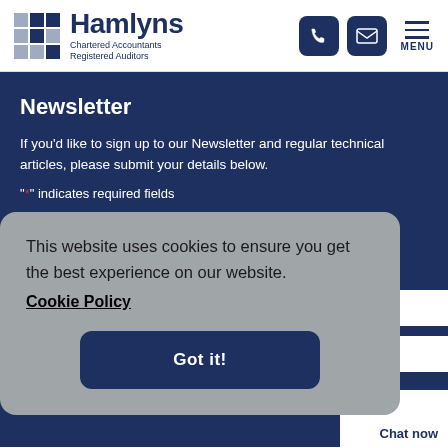[Figure (logo): Hamlyns Chartered Accountants Registered Auditors logo with grid icon]
Newsletter
If you'd like to sign up to our Newsletter and regular technical articles, please submit your details below.
"*" indicates required fields
Your name *
This website uses cookies to ensure you get the best experience on our website. Cookie Policy
Got it!
Chat now